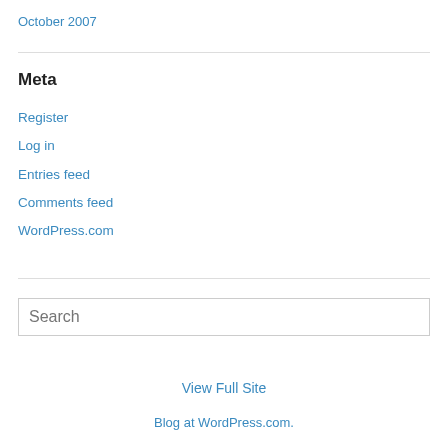October 2007
Meta
Register
Log in
Entries feed
Comments feed
WordPress.com
Search
View Full Site
Blog at WordPress.com.